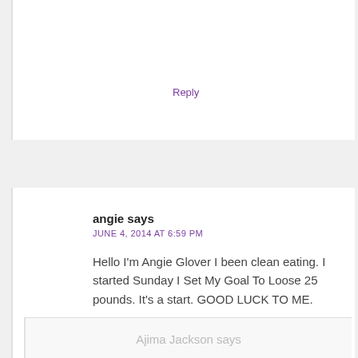Reply
angie says
JUNE 4, 2014 AT 6:59 PM
Hello I'm Angie Glover I been clean eating. I started Sunday I Set My Goal To Loose 25 pounds. It's a start. GOOD LUCK TO ME.
Reply
Ajima Jackson says